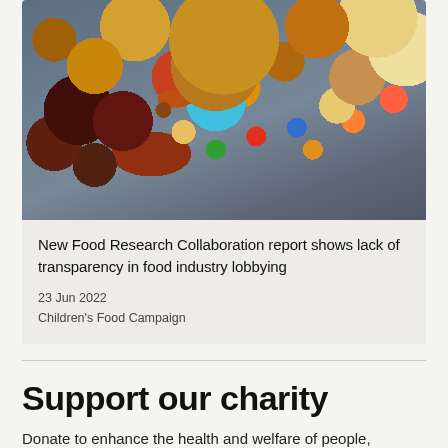[Figure (photo): Overhead photo of various junk foods including a hamburger, muffins, cookies, donuts, chocolate, gummy candies, M&Ms, french fries, and a glass of red sauce on a dark background]
New Food Research Collaboration report shows lack of transparency in food industry lobbying
23 Jun 2022
Children's Food Campaign
Support our charity
Donate to enhance the health and welfare of people,